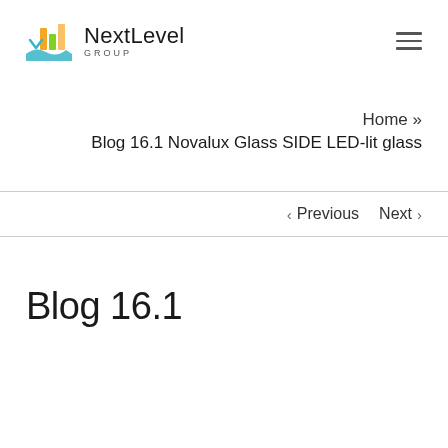NextLevel GROUP
Home » Blog 16.1 Novalux Glass SIDE LED-lit glass
< Previous  Next >
Blog 16.1